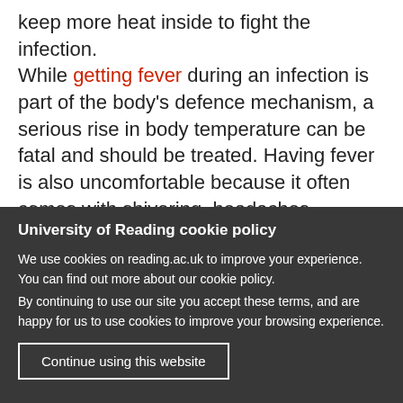keep more heat inside to fight the infection. While getting fever during an infection is part of the body's defence mechanism, a serious rise in body temperature can be fatal and should be treated. Having fever is also uncomfortable because it often comes with shivering, headaches, nausea and stomach
University of Reading cookie policy
We use cookies on reading.ac.uk to improve your experience. You can find out more about our cookie policy. By continuing to use our site you accept these terms, and are happy for us to use cookies to improve your browsing experience.
Continue using this website